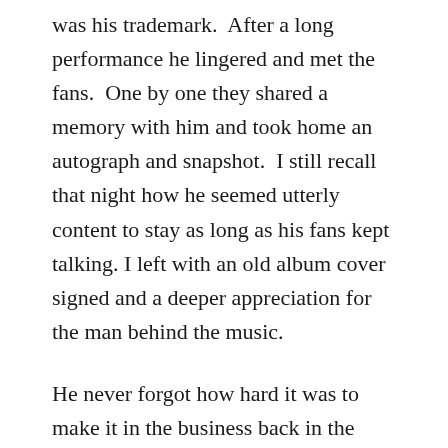was his trademark.  After a long performance he lingered and met the fans.  One by one they shared a memory with him and took home an autograph and snapshot.  I still recall that night how he seemed utterly content to stay as long as his fans kept talking. I left with an old album cover signed and a deeper appreciation for the man behind the music.
He never forgot how hard it was to make it in the business back in the early days of his career.  And because of that he never took his fans for granted.
There are a dwindling number of the old style Opry members, and with each one that moves on to the biggest stage yet, we are left with only memories.  So